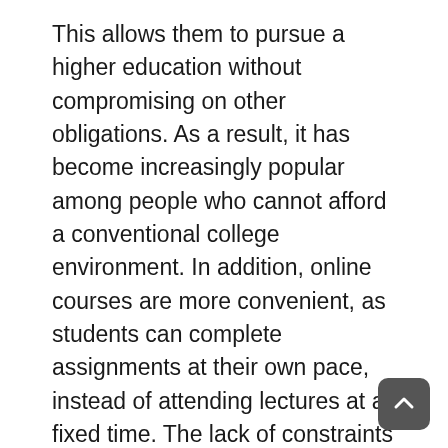This allows them to pursue a higher education without compromising on other obligations. As a result, it has become increasingly popular among people who cannot afford a conventional college environment. In addition, online courses are more convenient, as students can complete assignments at their own pace, instead of attending lectures at a fixed time. The lack of constraints on the amount of time that can be allocated to completing an online course makes it a viable option for many.
In addition to the increased convenience, there are many other advantages of education online. Because of its accessibility, many people have chosen to pursue an online education. For one, it is convenient and affordable. With online classes, you don't need a supercomputer or any other expensive hardware. And while the amount of work involved in an online course